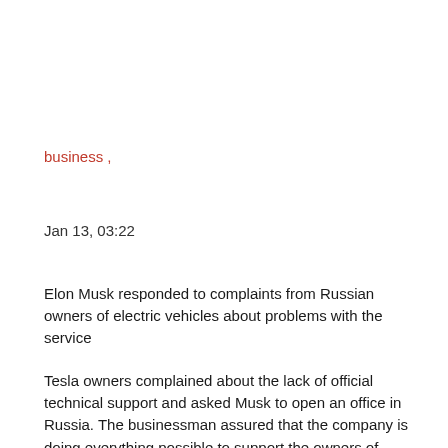business ,
Jan 13, 03:22
Elon Musk responded to complaints from Russian owners of electric vehicles about problems with the service
Tesla owners complained about the lack of official technical support and asked Musk to open an office in Russia. The businessman assured that the company is doing everything possible to support the owners of electric cars around the world.